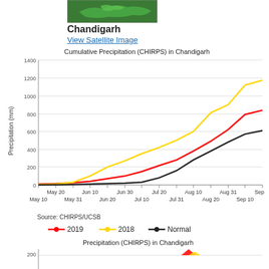[Figure (map): Small green map showing location of Chandigarh region]
Chandigarh
View Satellite Image
[Figure (line-chart): Cumulative Precipitation (CHIRPS) in Chandigarh]
Source: CHIRPS/UCSB
[Figure (line-chart): Bar/line chart showing periodic precipitation values, partially visible at bottom of page]